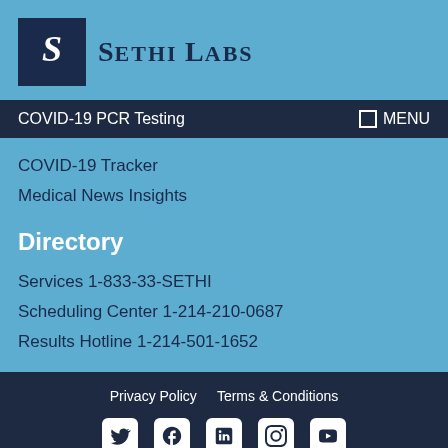[Figure (logo): Sethi Labs logo with ornate S letter on dark navy background and company name text]
COVID-19 PCR Testing
COVID-19 Tracker
Medical News Insights
Directory
Services 1-833-33-SETHI
Scheduling Center 1-214-210-0687
Results Hotline 1-214-501-1652
Privacy Policy   Terms & Conditions  [Twitter] [Facebook] [LinkedIn] [Instagram] [YouTube]